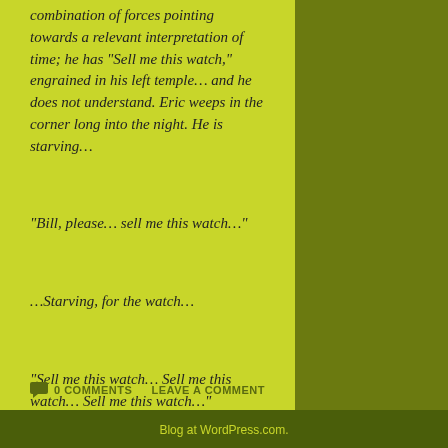combination of forces pointing towards a relevant interpretation of time; he has “Sell me this watch,” engrained in his left temple… and he does not understand. Eric weeps in the corner long into the night. He is starving…
“Bill, please… sell me this watch…”
…Starving, for the watch…
“Sell me this watch… Sell me this watch… Sell me this watch…”
0 COMMENTS    LEAVE A COMMENT
Blog at WordPress.com.